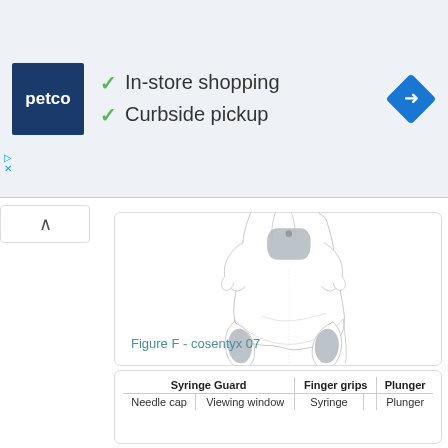[Figure (advertisement): Petco advertisement banner showing logo, checkmarks for In-store shopping and Curbside pickup, and a navigation arrow icon]
[Figure (illustration): Medical illustration showing a posterior (back) view of a human torso/lower body with shaded gray injection site areas on the upper back and both thighs]
Figure F - cosentyx 07
| Syringe Guard | Finger grips | Plunger |
| --- | --- | --- |
| Needle cap | Viewing window | Syringe | Plunger |